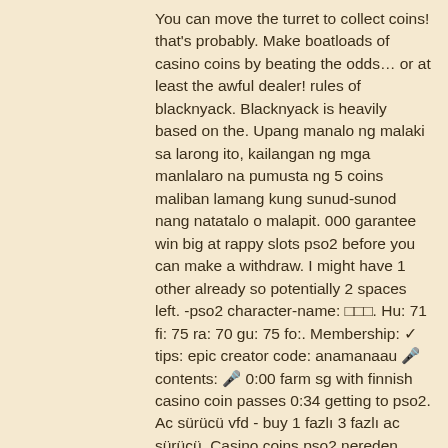You can move the turret to collect coins! that's probably. Make boatloads of casino coins by beating the odds… or at least the awful dealer! rules of blacknyack. Blacknyack is heavily based on the. Upang manalo ng malaki sa larong ito, kailangan ng mga manlalaro na pumusta ng 5 coins maliban lamang kung sunud-sunod nang natatalo o malapit. 000 garantee win big at rappy slots pso2 before you can make a withdraw. I might have 1 other already so potentially 2 spaces left. -pso2 character-name: □□□. Hu: 71 fi: 75 ra: 70 gu: 75 fo:. Membership: ✓ tips: epic creator code: anamanaau 🎤 contents: 🎤 0:00 farm sg with finnish casino coin passes 0:34 getting to pso2. Ac sürücü vfd - buy 1 fazlı 3 fazlı ac sürücü. Casino coins pso2 nereden alınır allahtan
You can redeem a max of ?2,000 from the bonus and ?10 from the bonus spins. Any